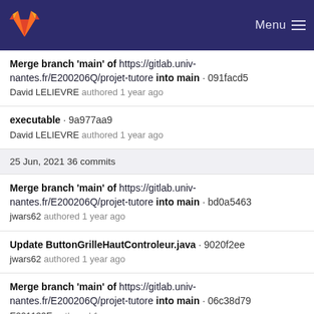GitLab Menu
Merge branch 'main' of https://gitlab.univ-nantes.fr/E200206Q/projet-tutore into main · 091facd5
David LELIEVRE authored 1 year ago
executable · 9a977aa9
David LELIEVRE authored 1 year ago
25 Jun, 2021 36 commits
Merge branch 'main' of https://gitlab.univ-nantes.fr/E200206Q/projet-tutore into main · bd0a5463
jwars62 authored 1 year ago
Update ButtonGrilleHautControleur.java · 9020f2ee
jwars62 authored 1 year ago
Merge branch 'main' of https://gitlab.univ-nantes.fr/E200206Q/projet-tutore into main · 06c38d79
E201139E authored 1 year ago